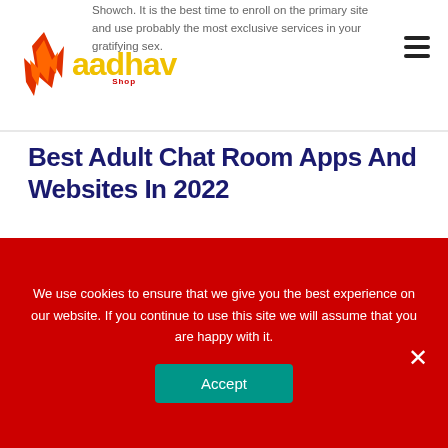Aadhav Shop
Showch. It is the best time to enroll on the primary site and use probably the most exclusive services in your gratifying sex.
Best Adult Chat Room Apps And Websites In 2022
Stripchat is another site we’ve mentioned in a full evaluate here. Although, they’re pretty much your typical online replica for real-life strip clubs. Simply hit the Stop button located beneath your webcam screen. Once you hit this button, you'll
We use cookies to ensure that we give you the best experience on our website. If you continue to use this site we will assume that you are happy with it.